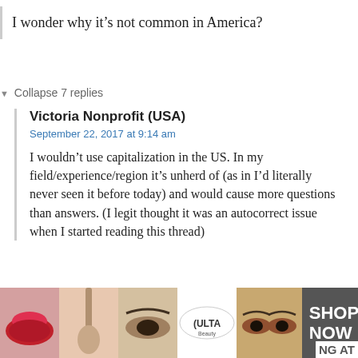I wonder why it’s not common in America?
▼ Collapse 7 replies
Victoria Nonprofit (USA)
September 22, 2017 at 9:14 am
I wouldn’t use capitalization in the US. In my field/experience/region it’s unherd of (as in I’d literally never seen it before today) and would cause more questions than answers. (I legit thought it was an autocorrect issue when I started reading this thread)
▼ Collapse 4 replies
Amber T
[Figure (screenshot): Advertisement overlay with CLOSE button and Ulta Beauty ad showing cosmetic images (lips, makeup brush, eyes, Ulta logo, eyes) with SHOP NOW button]